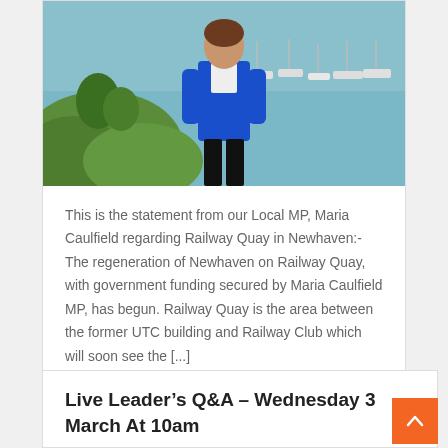[Figure (photo): A woman in a blue blazer and black trousers standing outdoors with a marina/harbour with boats visible in the background and green grass/vegetation in the foreground.]
This is the statement from our Local MP, Maria Caulfield regarding Railway Quay in Newhaven:- The regeneration of Newhaven on Railway Quay, with government funding secured by Maria Caulfield MP, has begun. Railway Quay is the area between the former UTC building and Railway Club which will soon see the [...]
Newhaven ,   Parliament / local MP ,
Live Leader's Q&A – Wednesday 3 March At 10am